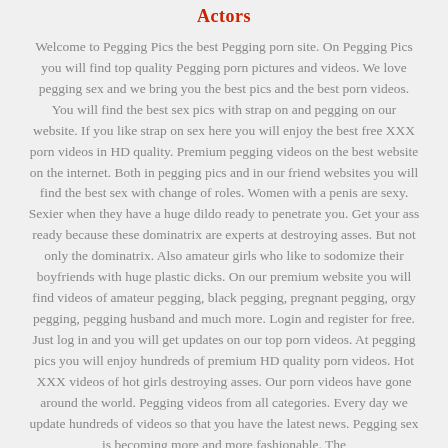Actors
Welcome to Pegging Pics the best Pegging porn site. On Pegging Pics you will find top quality Pegging porn pictures and videos. We love pegging sex and we bring you the best pics and the best porn videos. You will find the best sex pics with strap on and pegging on our website. If you like strap on sex here you will enjoy the best free XXX porn videos in HD quality. Premium pegging videos on the best website on the internet. Both in pegging pics and in our friend websites you will find the best sex with change of roles. Women with a penis are sexy. Sexier when they have a huge dildo ready to penetrate you. Get your ass ready because these dominatrix are experts at destroying asses. But not only the dominatrix. Also amateur girls who like to sodomize their boyfriends with huge plastic dicks. On our premium website you will find videos of amateur pegging, black pegging, pregnant pegging, orgy pegging, pegging husband and much more. Login and register for free. Just log in and you will get updates on our top porn videos. At pegging pics you will enjoy hundreds of premium HD quality porn videos. Hot XXX videos of hot girls destroying asses. Our porn videos have gone around the world. Pegging videos from all categories. Every day we update hundreds of videos so that you have the latest news. Pegging sex is becoming more and more fashionable. The